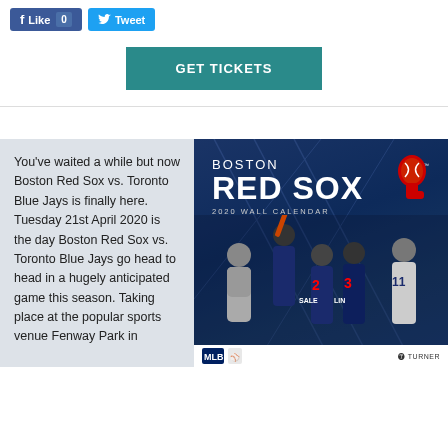[Figure (screenshot): Social media buttons: Facebook Like (0) and Twitter Tweet buttons]
[Figure (screenshot): GET TICKETS button in teal/dark cyan color]
You've waited a while but now Boston Red Sox vs. Toronto Blue Jays is finally here. Tuesday 21st April 2020 is the day Boston Red Sox vs. Toronto Blue Jays go head to head in a hugely anticipated game this season. Taking place at the popular sports venue Fenway Park in
[Figure (photo): Boston Red Sox 2020 Wall Calendar cover showing Red Sox players celebrating, with the team logo in the upper right corner and MLB logo at the bottom]